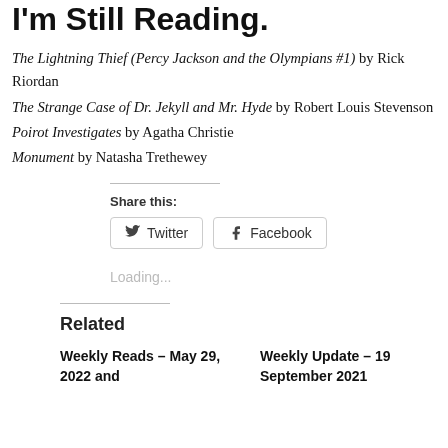I'm Still Reading.
The Lightning Thief (Percy Jackson and the Olympians #1) by Rick Riordan
The Strange Case of Dr. Jekyll and Mr. Hyde by Robert Louis Stevenson
Poirot Investigates by Agatha Christie
Monument by Natasha Trethewey
Share this:
Twitter
Facebook
Loading...
Related
Weekly Reads – May 29, 2022 and
Weekly Update – 19 September 2021